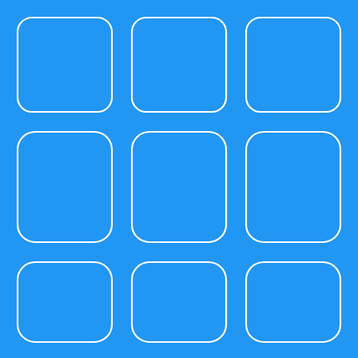[Figure (illustration): A 3x3 grid of rounded rectangles with white outlines on a blue background. Each cell is a rounded square shape outlined in white, arranged in three rows and three columns with equal spacing.]